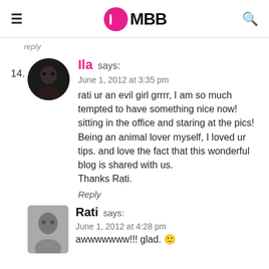IMBB
reply
14. Ila says:
June 1, 2012 at 3:35 pm
rati ur an evil girl grrrr, I am so much tempted to have something nice now! sitting in the office and staring at the pics!
Being an animal lover myself, I loved ur tips. and love the fact that this wonderful blog is shared with us.
Thanks Rati.
Reply
Rati says:
June 1, 2012 at 4:28 pm
awwwwwww!!! glad. 🙂